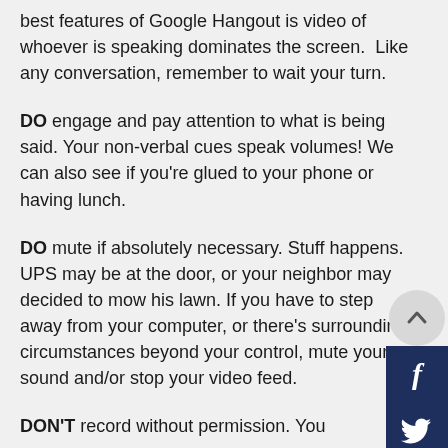best features of Google Hangout is video of whoever is speaking dominates the screen.  Like any conversation, remember to wait your turn.
DO engage and pay attention to what is being said. Your non-verbal cues speak volumes! We can also see if you're glued to your phone or having lunch.
DO mute if absolutely necessary. Stuff happens. UPS may be at the door, or your neighbor may decided to mow his lawn. If you have to step away from your computer, or there's surrounding circumstances beyond your control, mute your sound and/or stop your video feed.
DON'T record without permission. You